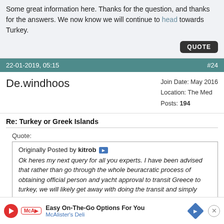Some great information here. Thanks for the question, and thanks for the answers. We now know we will continue to head towards Turkey.
QUOTE
22-01-2019, 05:15  #24
De.windhoos
Join Date: May 2016
Location: The Med
Posts: 194
Re: Turkey or Greek Islands
Quote:
Originally Posted by kitrob
Ok heres my next query for all you experts. I have been advised that rather than go through the whole beuracratic process of obtaining official person and yacht approval to transit Greece to turkey, we will likely get away with doing the transit and simply ensuring that we fly the correct flag ie Turkish flag when entering Turkey and viceversa.

part of the reasoning for this excellent idea is that if caught without formal papers we would simply be sent back to Gree...
Easy On-The-Go Options For You
McAlister's Deli